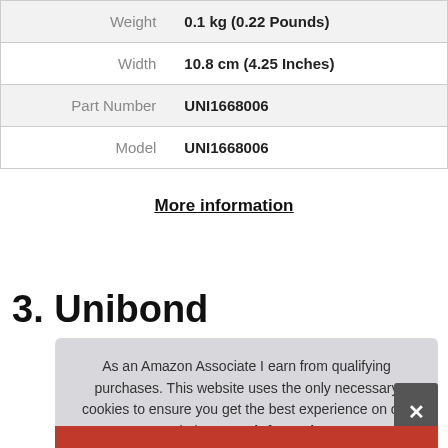| Weight | 0.1 kg (0.22 Pounds) |
| Width | 10.8 cm (4.25 Inches) |
| Part Number | UNI1668006 |
| Model | UNI1668006 |
More information
3. Unibond
As an Amazon Associate I earn from qualifying purchases. This website uses the only necessary cookies to ensure you get the best experience on our website. More information